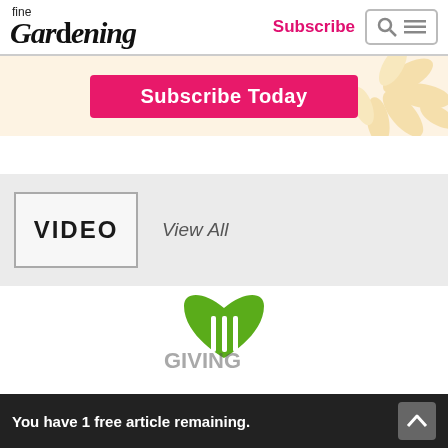fine Gardening | Subscribe | Search | Menu
[Figure (screenshot): Subscribe Today pink button on light beige background with decorative flower petals on the right]
[Figure (screenshot): VIDEO section label in bordered box with View All link on grey background]
[Figure (logo): Green stylized heart/gardening logo partially visible]
You have 1 free article remaining.